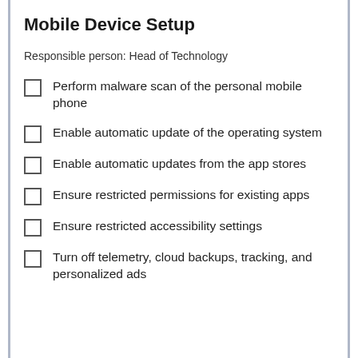Mobile Device Setup
Responsible person: Head of Technology
Perform malware scan of the personal mobile phone
Enable automatic update of the operating system
Enable automatic updates from the app stores
Ensure restricted permissions for existing apps
Ensure restricted accessibility settings
Turn off telemetry, cloud backups, tracking, and personalized ads